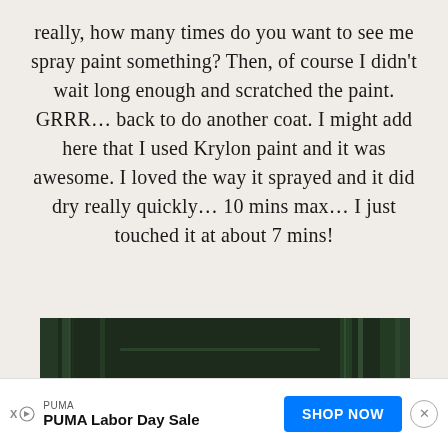really, how many times do you want to see me spray paint something? Then, of course I didn't wait long enough and scratched the paint. GRRR... back to do another coat. I might add here that I used Krylon paint and it was awesome. I loved the way it sprayed and it did dry really quickly... 10 mins max... I just touched it at about 7 mins!
[Figure (photo): Close-up photo of dark painted surface with scratches showing through, overlaid with orange handwritten-style text reading 'Darn My Impatience!']
PUMA
PUMA Labor Day Sale
SHOP NOW